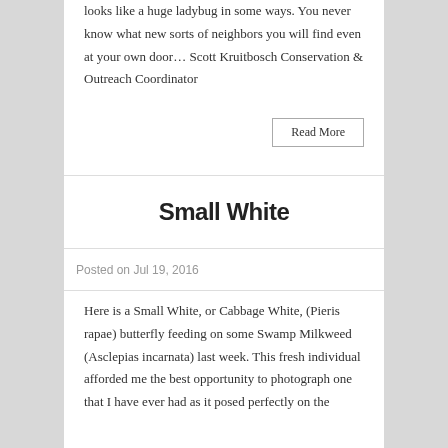looks like a huge ladybug in some ways. You never know what new sorts of neighbors you will find even at your own door… Scott Kruitbosch Conservation & Outreach Coordinator
Read More
Small White
Posted on Jul 19, 2016
Here is a Small White, or Cabbage White, (Pieris rapae) butterfly feeding on some Swamp Milkweed (Asclepias incarnata) last week. This fresh individual afforded me the best opportunity to photograph one that I have ever had as it posed perfectly on the